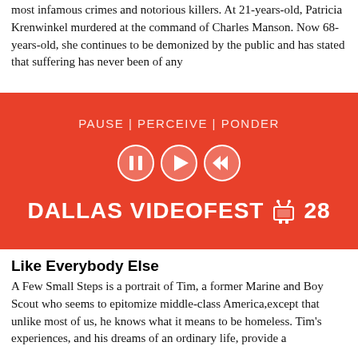most infamous crimes and notorious killers. At 21-years-old, Patricia Krenwinkel murdered at the command of Charles Manson. Now 68-years-old, she continues to be demonized by the public and has stated that suffering has never been of any...
[Figure (logo): Dallas Videofest 28 banner with red background. Text reads: PAUSE | PERCEIVE | PONDER with media control icons (pause, play, rewind) and large text DALLAS VIDEOFEST 28 with a small TV robot icon.]
Like Everybody Else
A Few Small Steps is a portrait of Tim, a former Marine and Boy Scout who seems to epitomize middle-class America,except that unlike most of us, he knows what it means to be homeless. Tim's experiences, and his dreams of an ordinary life, provide a
[Figure (photo): Bottom strip showing a partial photo, partially visible at bottom of page.]